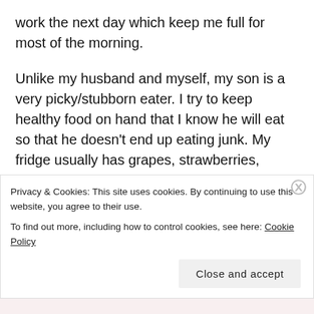work the next day which keep me full for most of the morning.
Unlike my husband and myself, my son is a very picky/stubborn eater. I try to keep healthy food on hand that I know he will eat so that he doesn't end up eating junk. My fridge usually has grapes, strawberries, Chobani yogurt tubes, milk, and Velveeta cheese slices (disgusting I know, but it's the only kind of cheese he'll eat these days). I also put Carnation Instant Breakfast into his milk to supplement his picky diet
Privacy & Cookies: This site uses cookies. By continuing to use this website, you agree to their use.
To find out more, including how to control cookies, see here: Cookie Policy
Close and accept